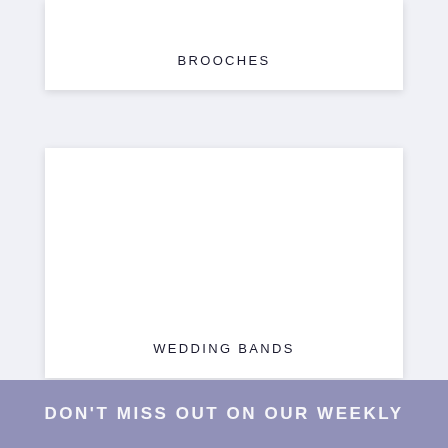BROOCHES
WEDDING BANDS
DON'T MISS OUT ON OUR WEEKLY